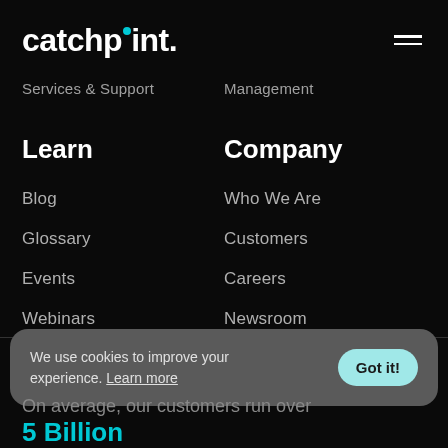catchpoint.
Services & Support
Management
Learn
Company
Blog
Who We Are
Glossary
Customers
Events
Careers
Webinars
Newsroom
Resources
Contact Us
We use cookies to improve your experience. Learn more   Got it!
On average, our customers run over 5 Billion